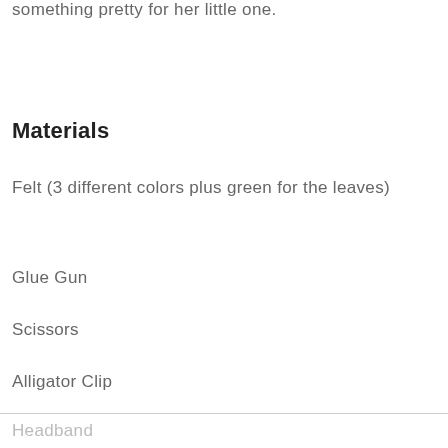something pretty for her little one.
Materials
Felt (3 different colors plus green for the leaves)
Glue Gun
Scissors
Alligator Clip
Headband